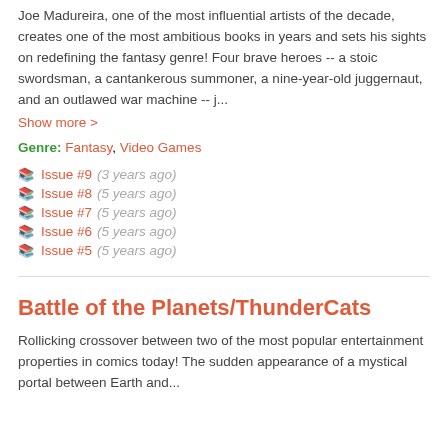Joe Madureira, one of the most influential artists of the decade, creates one of the most ambitious books in years and sets his sights on redefining the fantasy genre! Four brave heroes -- a stoic swordsman, a cantankerous summoner, a nine-year-old juggernaut, and an outlawed war machine -- j...
Show more >
Genre: Fantasy, Video Games
Issue #9 (3 years ago)
Issue #8 (5 years ago)
Issue #7 (5 years ago)
Issue #6 (5 years ago)
Issue #5 (5 years ago)
Battle of the Planets/ThunderCats
Rollicking crossover between two of the most popular entertainment properties in comics today! The sudden appearance of a mystical portal between Earth and...